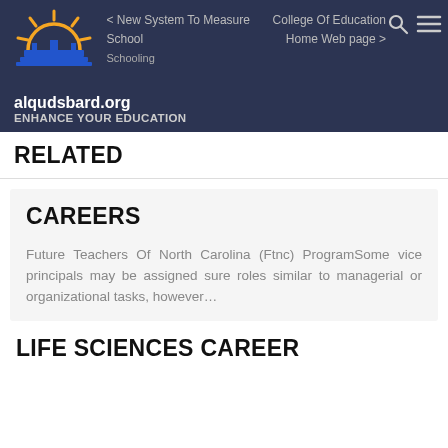[Figure (logo): Sun and school building logo for alqudsbard.org]
< New System To Measure School Schooling | College Of Education Home Web page >
alqudsbard.org
ENHANCE YOUR EDUCATION
RELATED
CAREERS
Future Teachers Of North Carolina (Ftnc) ProgramSome vice principals may be assigned sure roles similar to managerial or organizational tasks, however…
LIFE SCIENCES CAREER